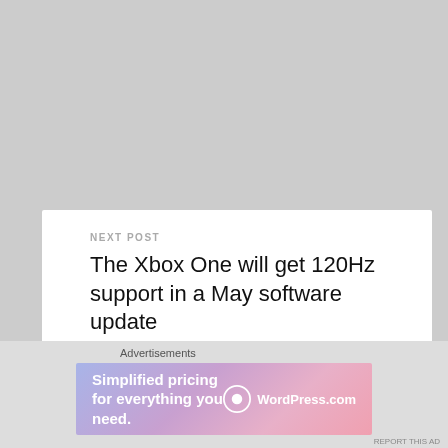NEXT POST
The Xbox One will get 120Hz support in a May software update
PREVIOUS POST
Microsoft now lets you gift PC games from its digital store
Advertisements
[Figure (infographic): WordPress.com advertisement banner: 'Simplified pricing for everything you need.' with WordPress logo]